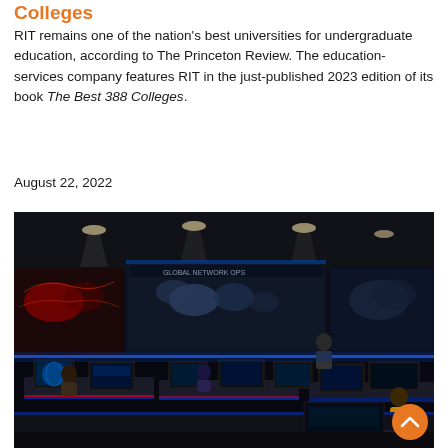Colleges
RIT remains one of the nation's best universities for undergraduate education, according to The Princeton Review. The education-services company features RIT in the just-published 2023 edition of its book The Best 388 Colleges.
August 22, 2022
[Figure (photo): Students working at computer workstations in a high-tech cybersecurity operations center with large display screens showing world maps and data, illuminated with blue and red LED lighting.]